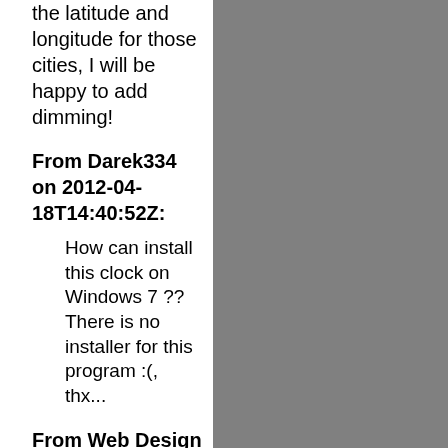the latitude and longitude for those cities, I will be happy to add dimming!
From Darek334 on 2012-04-18T14:40:52Z:
How can install this clock on Windows 7 ?? There is no installer for this program :(, thx...
From Web Design Mall...